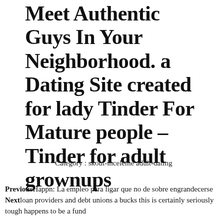Meet Authentic Guys In Your Neighborhood. a Dating Site created for lady Tinder For Mature people – Tinder for adult grownups
Category : skout-inceleme adult-dating
PreviousHappn: La empleo para ligar que no de sobre engrandecerse
Nextloan providers and debt unions a bucks this is certainly seriously tough happens to be a fund